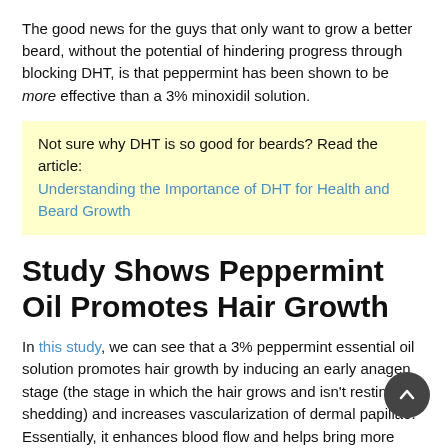The good news for the guys that only want to grow a better beard, without the potential of hindering progress through blocking DHT, is that peppermint has been shown to be more effective than a 3% minoxidil solution.
Not sure why DHT is so good for beards? Read the article: Understanding the Importance of DHT for Health and Beard Growth
Study Shows Peppermint Oil Promotes Hair Growth
In this study, we can see that a 3% peppermint essential oil solution promotes hair growth by inducing an early anagen stage (the stage in which the hair grows and isn't resting or shedding) and increases vascularization of dermal papillae. Essentially, it enhances blood flow and helps bring more nutrients to the hair follicle, allowing it to grow in fuller, healthier, and faster.